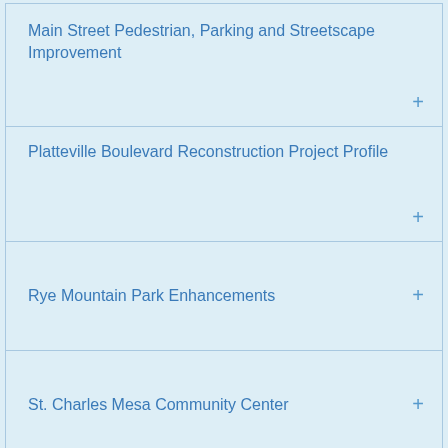Main Street Pedestrian, Parking and Streetscape Improvement +
Platteville Boulevard Reconstruction Project Profile +
Rye Mountain Park Enhancements +
St. Charles Mesa Community Center +
Union Avenue Pedestrian, Parking and Streetscape Improvements +